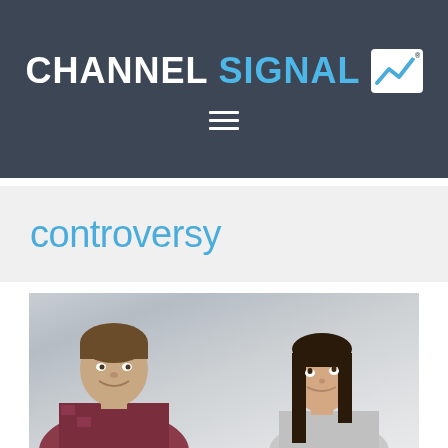CHANNEL SIGNAL
controversy
[Figure (photo): A young man and a young woman smiling and looking at each other, photographed from below, indoors with a light-colored wall and artwork in the background.]